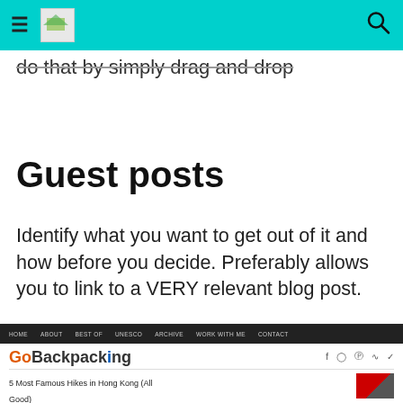[navigation bar with hamburger menu, logo, search icon]
do that by simply drag and drop
Guest posts
Identify what you want to get out of it and how before you decide. Preferably allows you to link to a VERY relevant blog post.
[Figure (screenshot): Screenshot of GoBackpacking website showing navigation bar with HOME, ABOUT, BEST OF, UNESCO, ARCHIVE, WORK WITH ME, CONTACT links, the GoBackpacking logo with social media icons, and a partial article title '5 Most Famous Hikes in Hong Kong (All Good)' with a thumbnail image.]